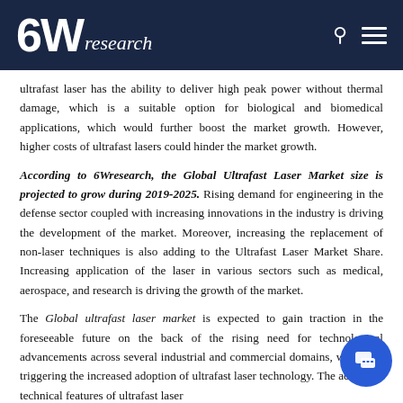6Wresearch
ultrafast laser has the ability to deliver high peak power without thermal damage, which is a suitable option for biological and biomedical applications, which would further boost the market growth. However, higher costs of ultrafast lasers could hinder the market growth.
According to 6Wresearch, the Global Ultrafast Laser Market size is projected to grow during 2019-2025. Rising demand for engineering in the defense sector coupled with increasing innovations in the industry is driving the development of the market. Moreover, increasing the replacement of non-laser techniques is also adding to the Ultrafast Laser Market Share. Increasing application of the laser in various sectors such as medical, aerospace, and research is driving the growth of the market.
The Global ultrafast laser market is expected to gain traction in the foreseeable future on the back of the rising need for technological advancements across several industrial and commercial domains, which are triggering the increased adoption of ultrafast laser technology. The advanced technical features of ultrafast laser